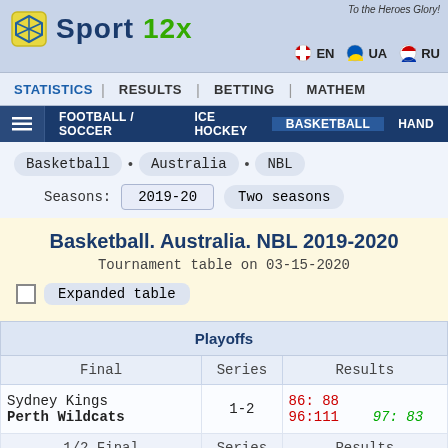To the Heroes Glory!
Sport 12x
EN  UA  RU
STATISTICS | RESULTS | BETTING | MATHEM
FOOTBALL / SOCCER  ICE HOCKEY  BASKETBALL  HAND
Basketball • Australia • NBL
Seasons: 2019-20  Two seasons
Basketball. Australia. NBL 2019-2020
Tournament table on 03-15-2020
Expanded table
| Final | Series | Results |
| --- | --- | --- |
| Sydney Kings  Perth Wildcats | 1-2 | 86: 88  96:111  97: 83 |
| 1/2 Final | Series | Results |